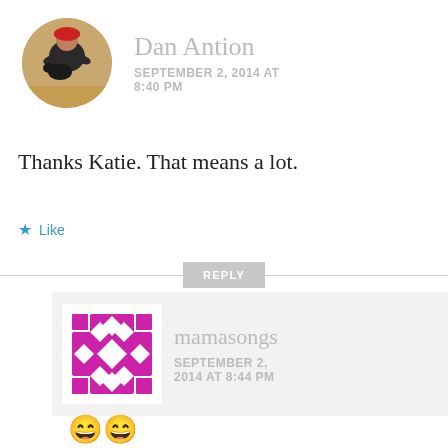[Figure (photo): Circular avatar photo of Dan Antion, a man sitting on a wooden surface with a dog, wearing a red cap and dark clothing]
Dan Antion
SEPTEMBER 2, 2014 AT 8:40 PM
Thanks Katie. That means a lot.
★ Like
REPLY
[Figure (illustration): Circular avatar with a magenta/purple geometric diamond pattern on white background]
mamasongs
SEPTEMBER 2, 2014 AT 8:44 PM
😄😄